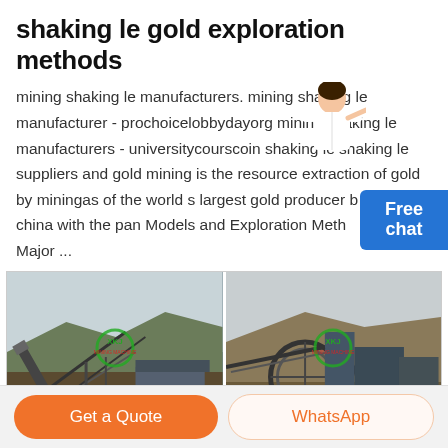shaking le gold exploration methods
mining shaking le manufacturers. mining shaking le manufacturer - prochoicelobbydayorg mining shaking le manufacturers - universitycourscoin shaking le shaking le suppliers and gold mining is the resource extraction of gold by miningas of the world s largest gold producer by far was china with the pan Models and Exploration Methods for Major ...
[Figure (photo): Two side-by-side photos of mining equipment and facilities at an outdoor quarry/mining site, with XKJ watermark logos overlaid on each image]
Get a Quote
WhatsApp